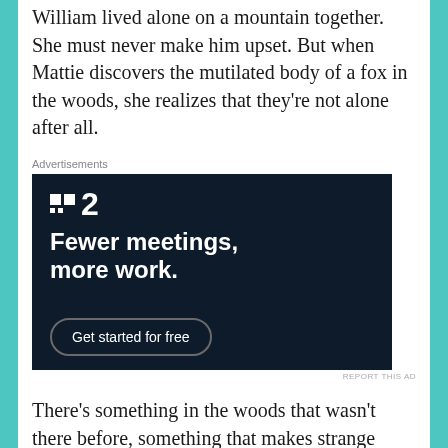William lived alone on a mountain together. She must never make him upset. But when Mattie discovers the mutilated body of a fox in the woods, she realizes that they're not alone after all.
Advertisements
[Figure (other): Advertisement for a project management or productivity tool featuring a logo with two squares and dot pattern followed by '2', bold white text reading 'Fewer meetings, more work.' on a dark navy background, with a 'Get started for free' button.]
REPORT THIS AD
There's something in the woods that wasn't there before, something that makes strange cries in the